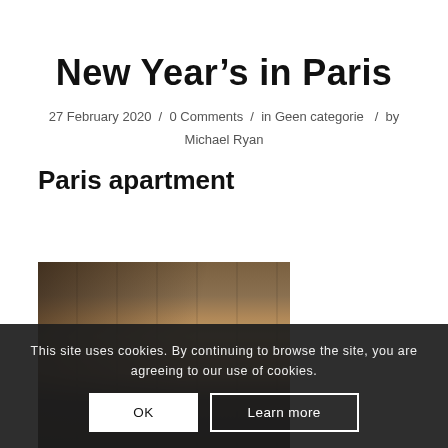New Year’s in Paris
27 February 2020 / 0 Comments / in Geen categorie / by Michael Ryan
Paris apartment
[Figure (photo): Interior photo of a Paris apartment showing wooden floors and dark furniture, partially obscured by a cookie consent overlay]
This site uses cookies. By continuing to browse the site, you are agreeing to our use of cookies.
OK  Learn more